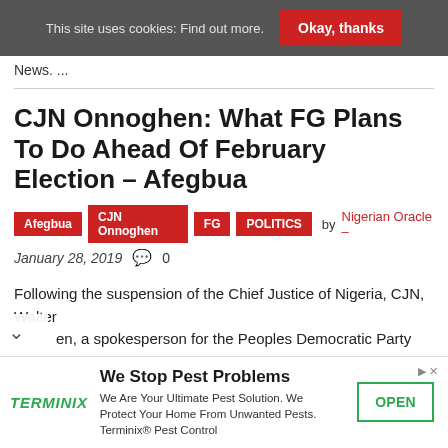This site uses cookies: Find out more.  Okay, thanks
News. ...
CJN Onnoghen: What FG Plans To Do Ahead Of February Election – Afegbua
Afegbua  CJN Onnoghen  FG  POLITICS  by Nigerian Oracle –
January 28, 2019  💬 0
Following the suspension of the Chief Justice of Nigeria, CJN, Walter
en, a spokesperson for the Peoples Democratic Party (PDP)
[Figure (infographic): Terminix advertisement: 'We Stop Pest Problems. We Are Your Ultimate Pest Solution. We Protect Your Home From Unwanted Pests. Terminix® Pest Control' with an OPEN button.]